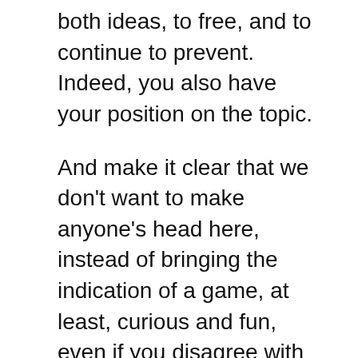both ideas, to free, and to continue to prevent. Indeed, you also have your position on the topic.
And make it clear that we don't want to make anyone's head here, instead of bringing the indication of a game, at least, curious and fun, even if you disagree with the release.
After all, this is just a game for entertainment purposes. We present Hempire: a game that brings the idea of not only cultivating but of building an